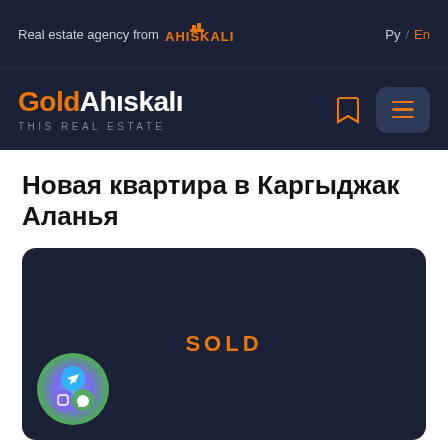Real estate agency from AHISKALI    Ру / En
[Figure (logo): GoldAhiskalı THIS REAL ESTATE logo with bookmark icon and hamburger menu]
Новая квартира в Каргыджак Аланья
[Figure (photo): Dark navy property listing card showing SOLD text in orange, with social media bubble icons (Telegram, Viber, WhatsApp) in bottom left corner]